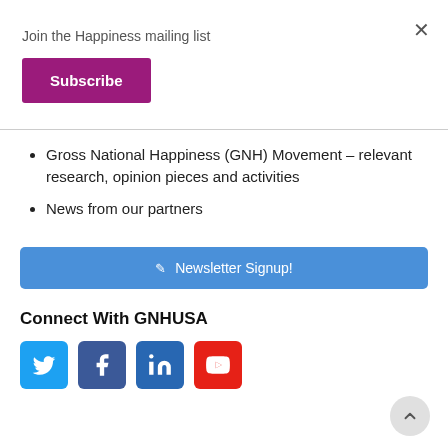Join the Happiness mailing list
Subscribe
Gross National Happiness (GNH) Movement – relevant research, opinion pieces and activities
News from our partners
Newsletter Signup!
Connect With GNHUSA
[Figure (infographic): Social media icons: Twitter (blue), Facebook (dark blue), LinkedIn (blue), YouTube (red)]